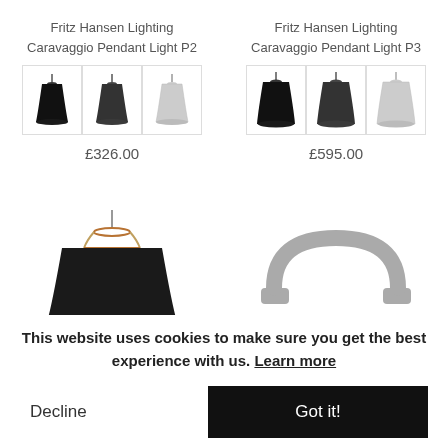Fritz Hansen Lighting
Caravaggio Pendant Light P2
[Figure (photo): Three pendant lights P2 in black, dark, and white colors shown in bordered thumbnails]
£326.00
Fritz Hansen Lighting
Caravaggio Pendant Light P3
[Figure (photo): Three pendant lights P3 in black, dark, and white colors shown in bordered thumbnails]
£595.00
[Figure (photo): Large black pendant lamp with copper/metal top detail]
[Figure (photo): Gray arch/handle shaped product component]
This website uses cookies to make sure you get the best experience with us. Learn more
Decline
Got it!